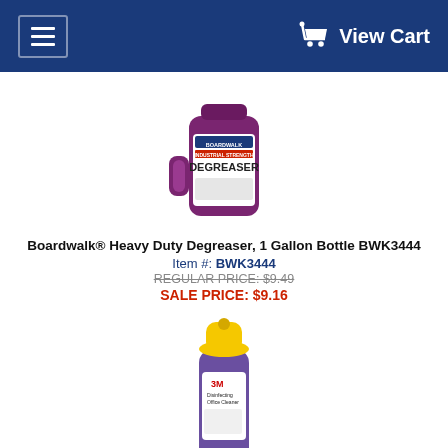View Cart
[Figure (photo): Boardwalk Heavy Duty Degreaser 1 Gallon Bottle product photo]
Boardwalk® Heavy Duty Degreaser, 1 Gallon Bottle BWK3444
Item #: BWK3444
REGULAR PRICE: $9.49
SALE PRICE: $9.16
[Figure (photo): 3M Disinfecting Office Cleaner 12.35 oz Aerosol can product photo]
3M Disinfecting Office Cleaner, 12.35 oz. Aerosol MMMCL574
Item #: MMMCL574
REGULAR PRICE: $9.45